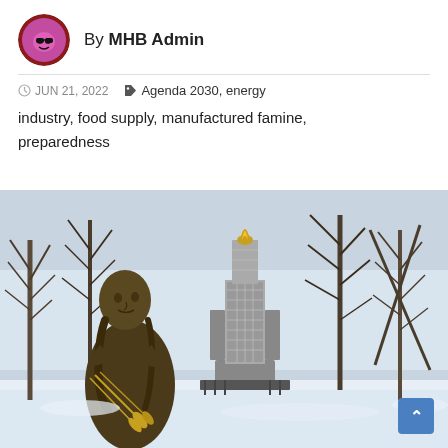By MHB Admin
JUN 21, 2022  Agenda 2030, energy industry, food supply, manufactured famine, preparedness
[Figure (photo): A bronze statue of a girl holding wheat stalks stands in front of a tall ornate memorial monument with a flame at the top, surrounded by bare winter trees and snow — a Holodomor famine memorial.]